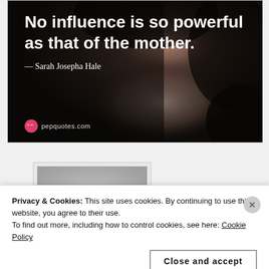[Figure (illustration): Quote image card with dark background showing a portrait of a woman, overlaid with bold white text: 'No influence is so powerful as that of the mother.' attributed to Sarah Josepha Hale, with pepquotes.com logo at bottom left.]
[Figure (screenshot): Small thumbnail of another quote image with blurred grey background and small overlaid text: 'There is small danger of being starved in our land of plenty, but the danger of being guided by, or misled...']
Privacy & Cookies: This site uses cookies. By continuing to use this website, you agree to their use.
To find out more, including how to control cookies, see here: Cookie Policy
Close and accept